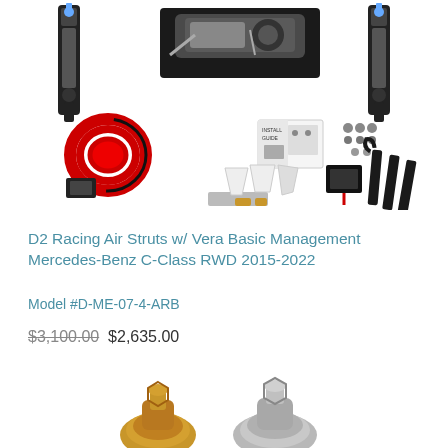[Figure (photo): Product photo of D2 Racing Air Struts kit components laid out on white background: two black air struts, air compressor on black plate, red wiring harness, instruction booklet, pressure switch, hardware bag, spanner wrenches, and various fittings.]
D2 Racing Air Struts w/ Vera Basic Management Mercedes-Benz C-Class RWD 2015-2022
Model #D-ME-07-4-ARB
$3,100.00  $2,635.00
[Figure (photo): Partial product photo showing metallic fittings/connectors at the bottom of the page, partially cut off.]